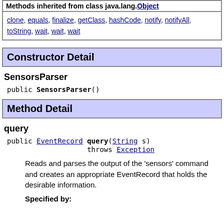| Methods inherited from class java.lang.Object |
| --- |
| clone, equals, finalize, getClass, hashCode, notify, notifyAll, toString, wait, wait, wait |
Constructor Detail
SensorsParser
public SensorsParser()
Method Detail
query
public EventRecord query(String s)
        throws Exception
Reads and parses the output of the 'sensors' command and creates an appropriate EventRecord that holds the desirable information.
Specified by: